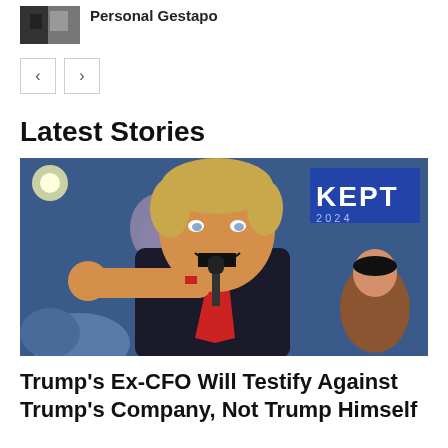[Figure (photo): Small thumbnail image of a building/house exterior]
Personal Gestapo
[Figure (other): Navigation buttons: left arrow and right arrow]
Latest Stories
[Figure (photo): Photo of Donald Trump at a rally, pointing at camera with microphone, crowd in background, KEPT sign visible]
Trump's Ex-CFO Will Testify Against Trump's Company, Not Trump Himself